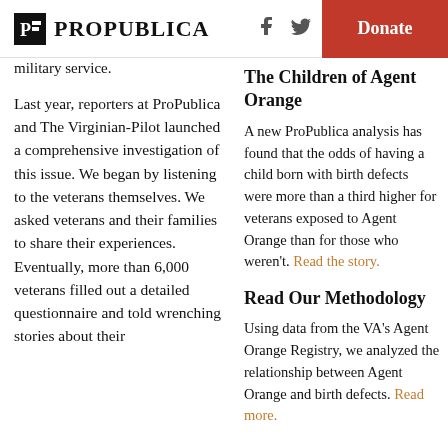ProPublica | Donate
military service.
Last year, reporters at ProPublica and The Virginian-Pilot launched a comprehensive investigation of this issue. We began by listening to the veterans themselves. We asked veterans and their families to share their experiences. Eventually, more than 6,000 veterans filled out a detailed questionnaire and told wrenching stories about their
The Children of Agent Orange
A new ProPublica analysis has found that the odds of having a child born with birth defects were more than a third higher for veterans exposed to Agent Orange than for those who weren't. Read the story.
Read Our Methodology
Using data from the VA's Agent Orange Registry, we analyzed the relationship between Agent Orange and birth defects. Read more.